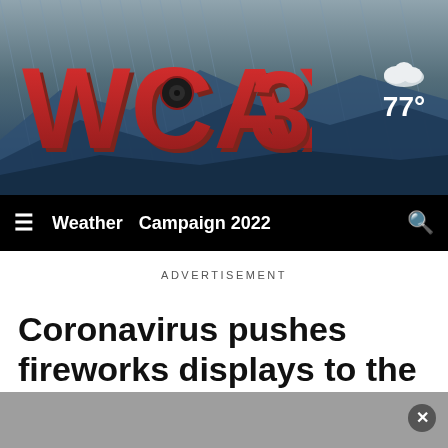[Figure (screenshot): WCAX 3 TV station logo — large red bold letters WCAX with a number 3, displayed on a dark blue mountainous landscape banner header with weather widget showing 77° and a cloud icon]
≡  Weather  Campaign 2022  🔍
ADVERTISEMENT
Coronavirus pushes fireworks displays to the backyard
[Figure (other): Broken image placeholder icon (small green/blue icon indicating failed image load)]
[Figure (other): Gray advertisement/overlay bar at the bottom with a close (X) button on the right]